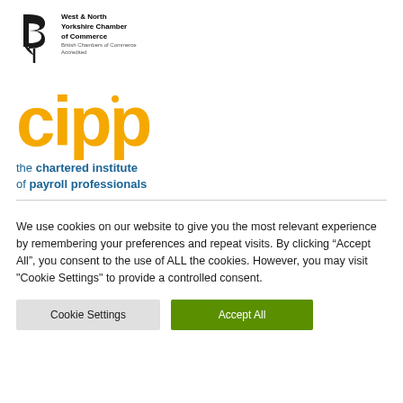[Figure (logo): West & North Yorkshire Chamber of Commerce logo with stylized B/leaf mark and text]
[Figure (logo): CIPP logo - large yellow 'cipp' wordmark with dot above second i, and tagline 'the chartered institute of payroll professionals' in blue]
We use cookies on our website to give you the most relevant experience by remembering your preferences and repeat visits. By clicking “Accept All”, you consent to the use of ALL the cookies. However, you may visit “Cookie Settings” to provide a controlled consent.
Cookie Settings | Accept All